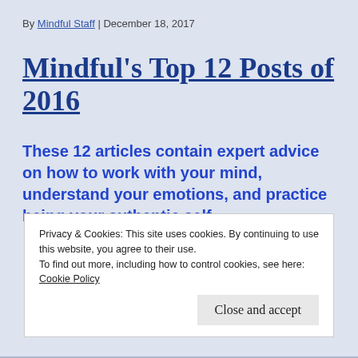By Mindful Staff | December 18, 2017
Mindful's Top 12 Posts of 2016
These 12 articles contain expert advice on how to work with your mind, understand your emotions, and practice being your authentic self.
Privacy & Cookies: This site uses cookies. By continuing to use this website, you agree to their use.
To find out more, including how to control cookies, see here:
Cookie Policy
Close and accept